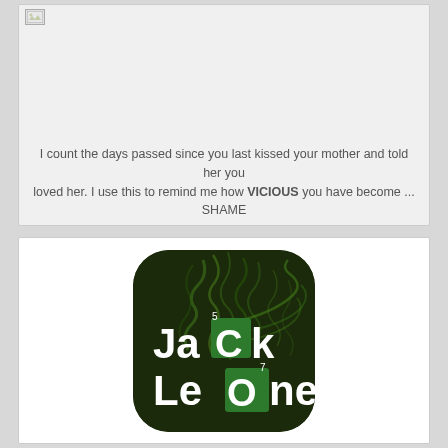[Figure (screenshot): A social media post card with a broken image placeholder and centered text reading: I count the days passed since you last kissed your mother and told her you loved her. I use this to remind me how VICIOUS you have become ... SHAME]
I count the days passed since you last kissed your mother and told her you loved her. I use this to remind me how VICIOUS you have become ... SHAME
[Figure (logo): JaCk LeOne logo on a dark green rounded square background with green smoke swirls. Text reads JaCk with C in a periodic-table style green square with superscript 5, and LeOne with O in a periodic-table style green square with superscript 7.]